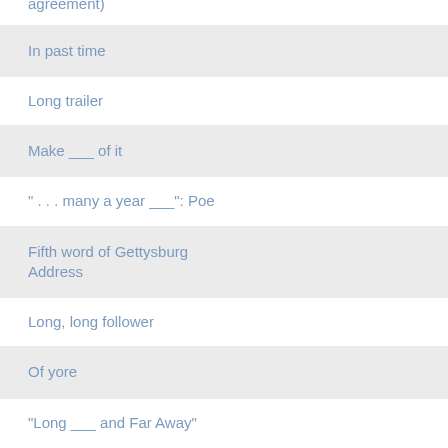"It's ___!" (business agreement)
In past time
Long trailer
Make ___ of it
" . . . many a year ___": Poe
Fifth word of Gettysburg Address
Long, long follower
Of yore
"Long ___ and Far Away"